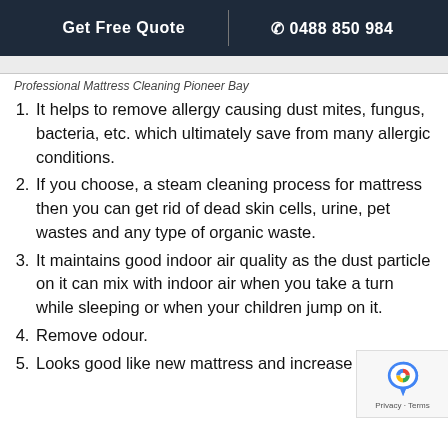Get Free Quote | 0488 850 984
Professional Mattress Cleaning Pioneer Bay
It helps to remove allergy causing dust mites, fungus, bacteria, etc. which ultimately save from many allergic conditions.
If you choose, a steam cleaning process for mattress then you can get rid of dead skin cells, urine, pet wastes and any type of organic waste.
It maintains good indoor air quality as the dust particle on it can mix with indoor air when you take a turn while sleeping or when your children jump on it.
Remove odour.
Looks good like new mattress and increase its